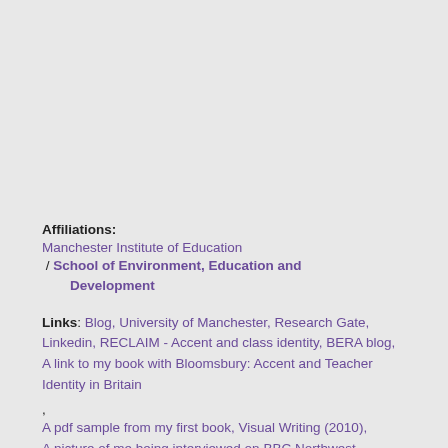Affiliations: Manchester Institute of Education / School of Environment, Education and Development
Links: Blog, University of Manchester, Research Gate, Linkedin, RECLAIM - Accent and class identity, BERA blog, A link to my book with Bloomsbury: Accent and Teacher Identity in Britain
, A pdf sample from my first book, Visual Writing (2010), A picture of me being interviewed on BBC Northwest